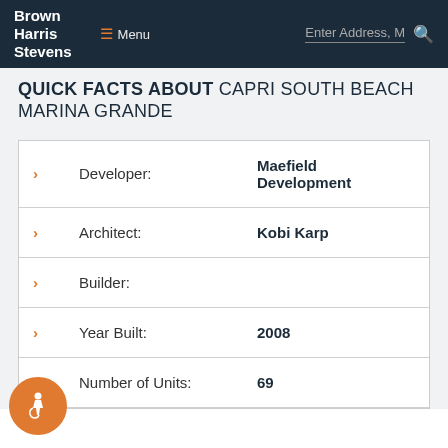Brown Harris Stevens — Menu — Enter Address, M — Search
QUICK FACTS ABOUT CAPRI SOUTH BEACH MARINA GRANDE
|  | Field | Value |
| --- | --- | --- |
| › | Developer: | Maefield Development |
| › | Architect: | Kobi Karp |
| › | Builder: |  |
| › | Year Built: | 2008 |
| › | Number of Units: | 69 |